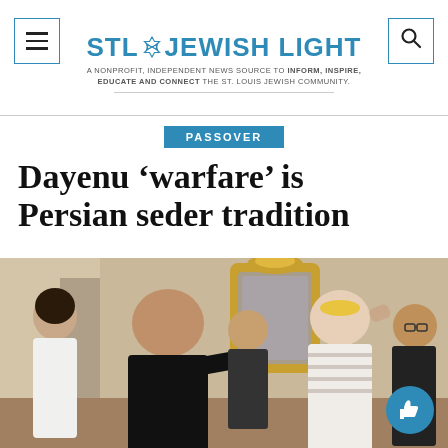STL Jewish Light — A nonprofit, independent news source to inform, inspire, educate and connect the St. Louis Jewish community.
PASSOVER
Dayenu 'warfare' is Persian seder tradition
[Figure (photo): People at a seder gathering, with a man in a black shirt appearing to playfully hit another person with a green onion (scallion), a Passover Persian tradition. Other guests including women and a man with glasses are visible in the background, with an ornate gold-framed mirror on the wall.]